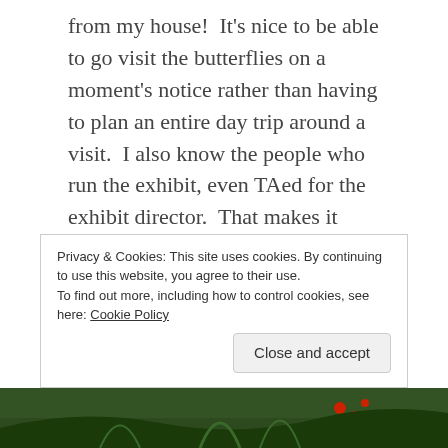from my house!  It's nice to be able to go visit the butterflies on a moment's notice rather than having to plan an entire day trip around a visit.  I also know the people who run the exhibit, even TAed for the exhibit director.  That makes it more fun for me because I can see evidence of their handiwork throughout the exhibit.  Plus, Butterfly Magic is the only tropical butterfly house in Arizona.  The Desert Botanical Gardens exhibit, though much larger, is all native North American butterflies, so Butterfly Magic features some of the showier butterflies from around the world that DBG doesn't get.
Privacy & Cookies: This site uses cookies. By continuing to use this website, you agree to their use. To find out more, including how to control cookies, see here: Cookie Policy
Close and accept
[Figure (photo): Photo strip at bottom showing a dark green plant/nature scene with red berries visible]